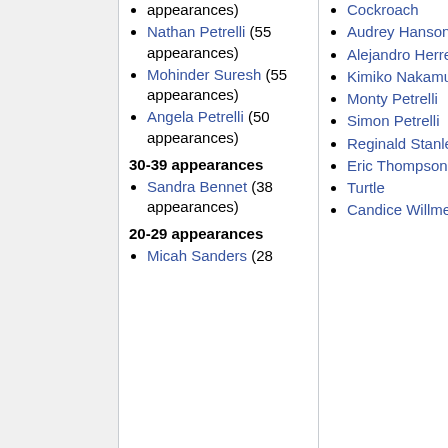appearances) [truncated top]
Nathan Petrelli (55 appearances)
Mohinder Suresh (55 appearances)
Angela Petrelli (50 appearances)
30-39 appearances
Sandra Bennet (38 appearances)
20-29 appearances
Micah Sanders (28 [truncated]
Cockroach
Audrey Hanson
Alejandro Herrera
Kimiko Nakamura
Monty Petrelli
Simon Petrelli
Reginald Stanley
Eric Thompson, Sr.
Turtle
Candice Willmer
3 ap[pearances — truncated]
[T... truncated]
[W... truncated]
[W... truncated]
[B... h... c... truncated]
[C... B... truncated]
[J... B... truncated]
[L... C... truncated]
[C... truncated]
[C... truncated]
[C... w... truncated]
[B... truncated]